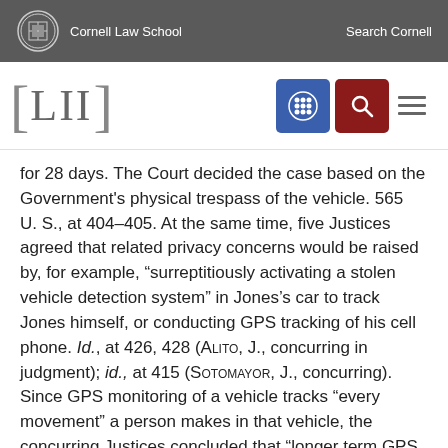Cornell Law School    Search Cornell
[Figure (logo): LII Legal Information Institute logo with Cornell Law School header navigation including blue grid icon, red search icon, and hamburger menu]
for 28 days. The Court decided the case based on the Government's physical trespass of the vehicle. 565 U. S., at 404–405. At the same time, five Justices agreed that related privacy concerns would be raised by, for example, “surreptitiously activating a stolen vehicle detection system” in Jones’s car to track Jones himself, or conducting GPS tracking of his cell phone. Id., at 426, 428 (Alito, J., concurring in judgment); id., at 415 (Sotomayor, J., concurring). Since GPS monitoring of a vehicle tracks “every movement” a person makes in that vehicle, the concurring Justices concluded that “longer term GPS monitoring in investigations of most offenses impinges on